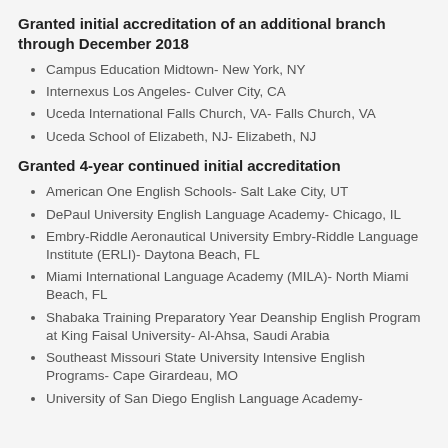Granted initial accreditation of an additional branch through December 2018
Campus Education Midtown- New York, NY
Internexus Los Angeles- Culver City, CA
Uceda International Falls Church, VA- Falls Church, VA
Uceda School of Elizabeth, NJ- Elizabeth, NJ
Granted 4-year continued initial accreditation
American One English Schools- Salt Lake City, UT
DePaul University English Language Academy- Chicago, IL
Embry-Riddle Aeronautical University Embry-Riddle Language Institute (ERLI)- Daytona Beach, FL
Miami International Language Academy (MILA)- North Miami Beach, FL
Shabaka Training Preparatory Year Deanship English Program at King Faisal University- Al-Ahsa, Saudi Arabia
Southeast Missouri State University Intensive English Programs- Cape Girardeau, MO
University of San Diego English Language Academy-